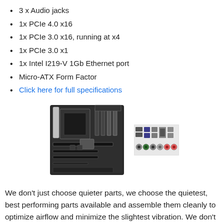3 x Audio jacks
1x PCIe 4.0 x16
1x PCIe 3.0 x16, running at x4
1x PCIe 3.0 x1
1x Intel I219-V 1Gb Ethernet port
Micro-ATX Form Factor
Click here for full specifications
[Figure (photo): ASUS motherboard (Micro-ATX) shown alongside its I/O shield panel with various ports including USB, audio, and ethernet connectors.]
We don't just choose quieter parts, we choose the quietest, best performing parts available and assemble them cleanly to optimize airflow and minimize the slightest vibration. We don't just replace one or two parts in our system with